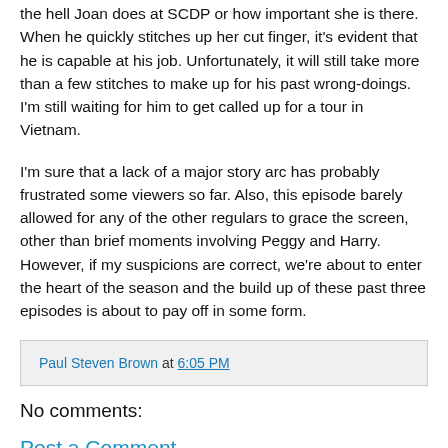the hell Joan does at SCDP or how important she is there. When he quickly stitches up her cut finger, it's evident that he is capable at his job. Unfortunately, it will still take more than a few stitches to make up for his past wrong-doings. I'm still waiting for him to get called up for a tour in Vietnam.
I'm sure that a lack of a major story arc has probably frustrated some viewers so far. Also, this episode barely allowed for any of the other regulars to grace the screen, other than brief moments involving Peggy and Harry. However, if my suspicions are correct, we're about to enter the heart of the season and the build up of these past three episodes is about to pay off in some form.
Paul Steven Brown at 6:05 PM
No comments:
Post a Comment